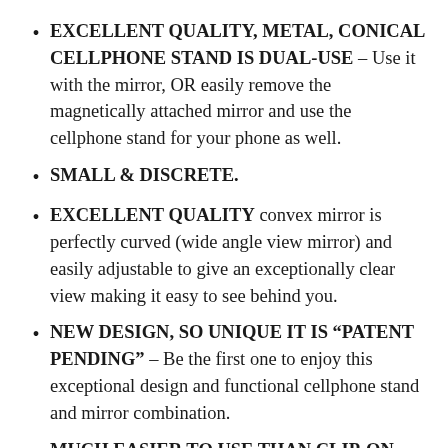EXCELLENT QUALITY, METAL, CONICAL CELLPHONE STAND IS DUAL-USE – Use it with the mirror, OR easily remove the magnetically attached mirror and use the cellphone stand for your phone as well.
SMALL & DISCRETE.
EXCELLENT QUALITY convex mirror is perfectly curved (wide angle view mirror) and easily adjustable to give an exceptionally clear view making it easy to see behind you.
NEW DESIGN, SO UNIQUE IT IS “PATENT PENDING” – Be the first one to enjoy this exceptional design and functional cellphone stand and mirror combination.
MUCH EASIER TO USE THAN CLIP-ON TYPE MIRRORS – Easy to simply place on your desk,